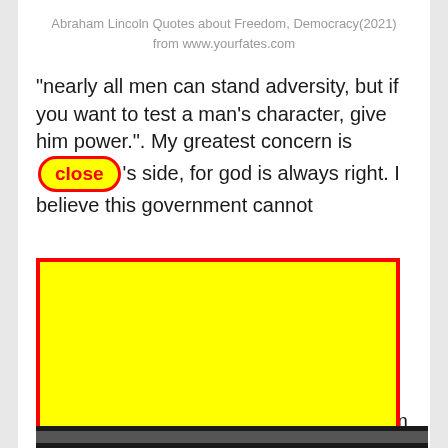Abraham Lincoln Quotes about Freedom, Democracy(2021)
from www.yourfates.com
“nearly all men can stand adversity, but if you want to test a man’s character, give him power.”. My greatest concern is [close] 's side, for god is always right. I believe this government cannot endu[...] sour[...]
[Figure (screenshot): A large yellow rectangle with a red border overlaying most of the page content, acting as a UI overlay/advertisement.]
Ab[...] m
Sour[...]
Whe[...] a
was[...]